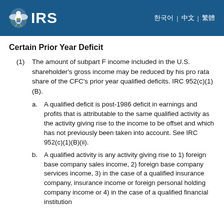IRS | 한국어 | 中文 | 繁體
Certain Prior Year Deficit
(1) The amount of subpart F income included in the U.S. shareholder's gross income may be reduced by his pro rata share of the CFC's prior year qualified deficits. IRC 952(c)(1)(B).
a. A qualified deficit is post-1986 deficit in earnings and profits that is attributable to the same qualified activity as the activity giving rise to the income to be offset and which has not previously been taken into account. See IRC 952(c)(1)(B)(ii).
b. A qualified activity is any activity giving rise to 1) foreign base company sales income, 2) foreign base company services income, 3) in the case of a qualified insurance company, insurance income or foreign personal holding company income or 4) in the case of a qualified financial institution